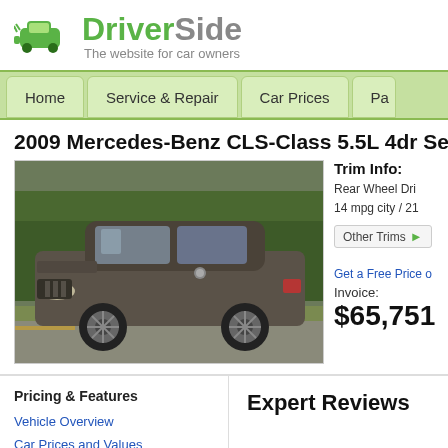[Figure (logo): DriverSide logo — green car icon with text 'DriverSide' and tagline 'The website for car owners']
Home | Service & Repair | Car Prices | Pa...
2009 Mercedes-Benz CLS-Class 5.5L 4dr Seda...
[Figure (photo): Photo of a dark grey 2009 Mercedes-Benz CLS-Class sedan on a road with green trees in background]
Trim Info:
Rear Wheel Dri...
14 mpg city / 21...
Other Trims ▶
Get a Free Price...
Invoice:
$65,751
Pricing & Features
Vehicle Overview
Car Prices and Values
Expert Reviews